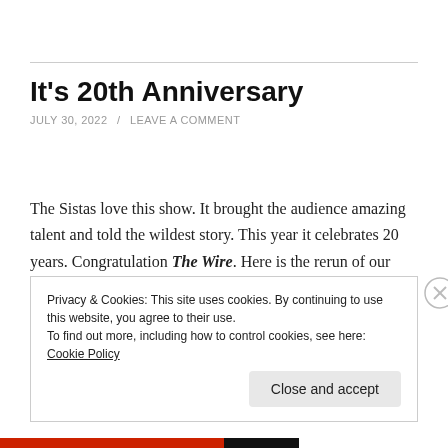It's 20th Anniversary
JULY 30, 2022 / LEAVE A COMMENT
The Sistas love this show. It brought the audience amazing talent and told the wildest story. This year it celebrates 20 years. Congratulation The Wire. Here is the rerun of our The Wire Episode Season 1.
Privacy & Cookies: This site uses cookies. By continuing to use this website, you agree to their use.
To find out more, including how to control cookies, see here: Cookie Policy
Close and accept